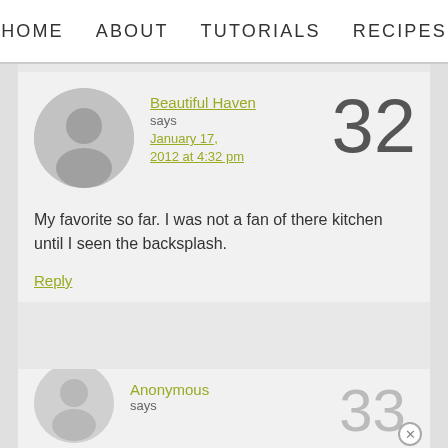HOME   ABOUT   TUTORIALS   RECIPES
Beautiful Haven says January 17, 2012 at 4:32 pm
32
My favorite so far. I was not a fan of there kitchen until I seen the backsplash.
Reply
Anonymous says